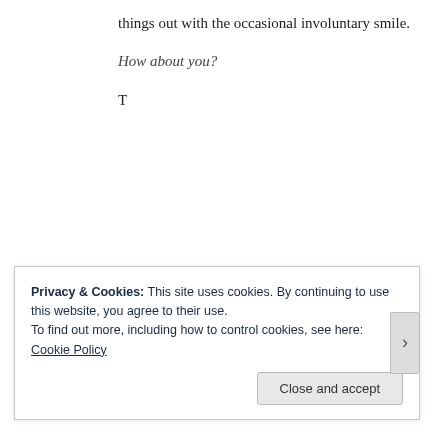things out with the occasional involuntary smile.
How about you?
T
Privacy & Cookies: This site uses cookies. By continuing to use this website, you agree to their use.
To find out more, including how to control cookies, see here: Cookie Policy
Close and accept